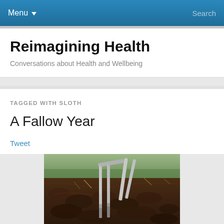Menu ▼  Search
Reimagining Health
Conversations about Health and Wellbeing
TAGGED WITH SLOTH
A Fallow Year
Tweet
[Figure (photo): A metal garden fork or cultivator tine pressed into dark, rich soil, with green grass or crops visible in the blurred background.]